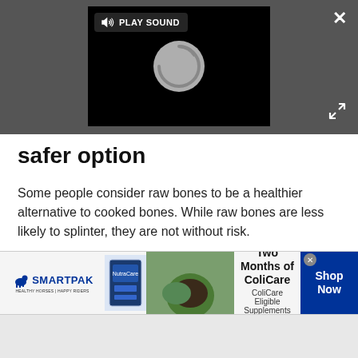[Figure (screenshot): Video player with black background and loading spinner, showing a 'PLAY SOUND' button in top-left corner. Dark gray surrounding bar with close X button top-right and expand arrows bottom-right.]
safer option
Some people consider raw bones to be a healthier alternative to cooked bones. While raw bones are less likely to splinter, they are not without risk.
Risks associated with chewing raw bones include:
Tooth fractures
[Figure (infographic): SmartPak advertisement banner: logo on left, product image, horse photo, '50% Off Two Months of ColiCare - ColiCare Eligible Supplements CODE: COLICARE10', and blue 'Shop Now' button on right.]